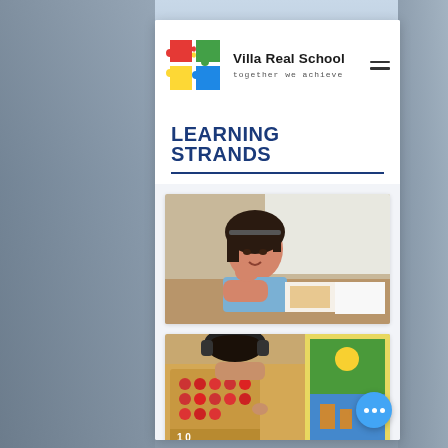[Figure (logo): Villa Real School puzzle-piece logo with red, yellow, blue, and green pieces]
Villa Real School
together we achieve
LEARNING STRANDS
[Figure (photo): Young girl with dark hair, wearing blue school uniform top, sitting at a desk looking at papers/books, resting head on hand]
[Figure (photo): Child wearing headphones working with coloured beads and a puzzle/activity board at a table]